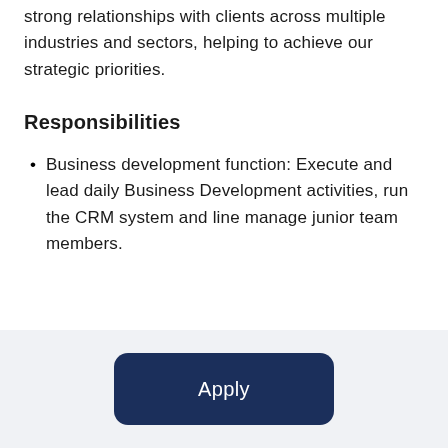strong relationships with clients across multiple industries and sectors, helping to achieve our strategic priorities.
Responsibilities
Business development function: Execute and lead daily Business Development activities, run the CRM system and line manage junior team members.
Apply